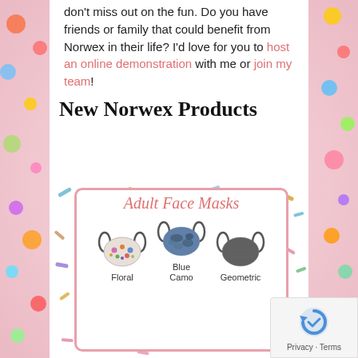don't miss out on the fun. Do you have friends or family that could benefit from Norwex in their life? I'd love for you to host an online demonstration with me or join my team!
New Norwex Products
[Figure (illustration): Promotional image showing three Norwex Adult Face Masks — Floral (colorful floral pattern), Blue Camo (blue camouflage), and Geometric (grey/dark) — inside a pink-bordered white card with sprinkle decorative background and the text 'Adult Face Masks' in pink italic script. Labels below each mask read: Floral, Blue Camo, Geometric.]